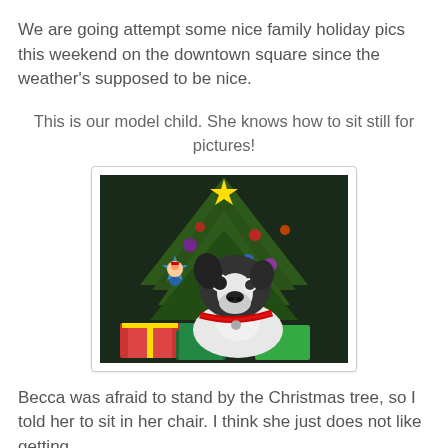We are going attempt some nice family holiday pics this weekend on the downtown square since the weather's supposed to be nice.
This is our model child. She knows how to sit still for pictures!
[Figure (photo): A Boston Terrier dog sitting in front of a decorated Christmas tree with wrapped gifts. A blue star-shaped ornament with a child's photo is visible on the tree.]
Becca was afraid to stand by the Christmas tree, so I told her to sit in her chair. I think she just does not like getting